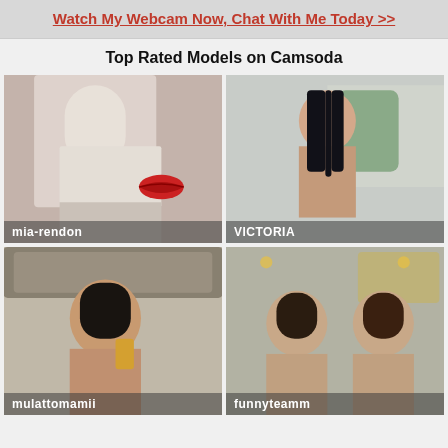Watch My Webcam Now, Chat With Me Today >>
Top Rated Models on Camsoda
[Figure (photo): Thumbnail of webcam model mia-rendon in white dress]
[Figure (photo): Thumbnail of webcam model VICTORIA with long black hair]
[Figure (photo): Thumbnail of webcam model mulattomamii sitting on bed]
[Figure (photo): Thumbnail of webcam models funnyteamm, two women on bed]